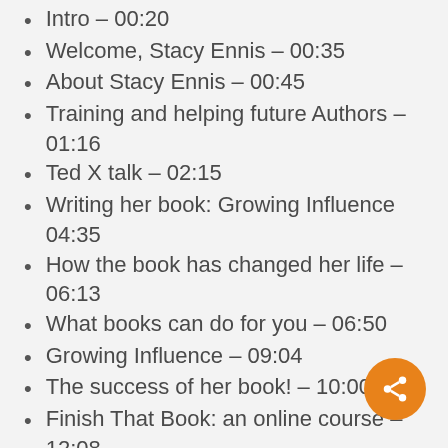Intro – 00:20
Welcome, Stacy Ennis – 00:35
About Stacy Ennis – 00:45
Training and helping future Authors – 01:16
Ted X talk – 02:15
Writing her book: Growing Influence 04:35
How the book has changed her life – 06:13
What books can do for you – 06:50
Growing Influence – 09:04
The success of her book! – 10:00
Finish That Book: an online course – 12:08
Stacys next book – 13:48
Workshops – 15:32
Training through Next Level Women leaders – 16:48